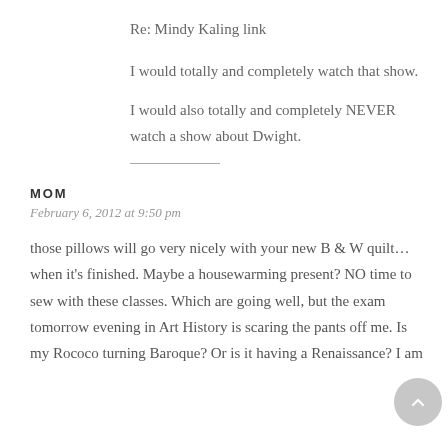Re: Mindy Kaling link
I would totally and completely watch that show.
I would also totally and completely NEVER watch a show about Dwight.
MOM
February 6, 2012 at 9:50 pm
those pillows will go very nicely with your new B & W quilt… when it's finished. Maybe a housewarming present? NO time to sew with these classes. Which are going well, but the exam tomorrow evening in Art History is scaring the pants off me. Is my Rococo turning Baroque? Or is it having a Renaissance? I am